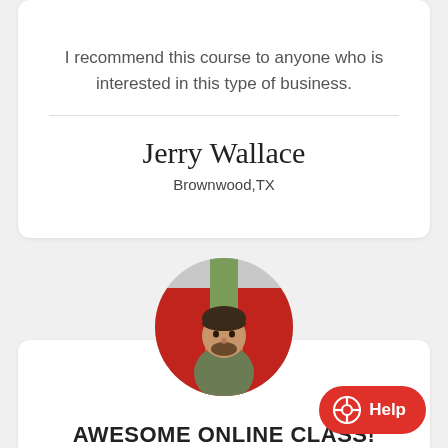I recommend this course to anyone who is interested in this type of business.
Jerry Wallace
Brownwood,TX
[Figure (photo): Circular portrait photo of a young man with short dark hair and beard, wearing an olive green t-shirt, seated in front of red ride equipment outdoors.]
AWESOME ONLINE CLASS!
Help